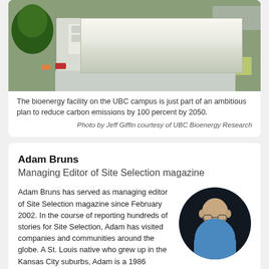[Figure (photo): Aerial photograph of the bioenergy facility on the UBC campus, showing rooftop solar panels, a green roof section, trees, and surrounding construction/buildings.]
The bioenergy facility on the UBC campus is just part of an ambitious plan to reduce carbon emissions by 100 percent by 2050.
Photo by Jeff Giffin courtesy of UBC Bioenergy Research
Adam Bruns
Managing Editor of Site Selection magazine
Adam Bruns has served as managing editor of Site Selection magazine since February 2002. In the course of reporting hundreds of stories for Site Selection, Adam has visited companies and communities around the globe. A St. Louis native who grew up in the Kansas City suburbs, Adam is a 1986 alumnus of Knox
[Figure (photo): Round headshot portrait of Adam Bruns, a bald man wearing glasses and a blue collared shirt, photographed against a dark background.]